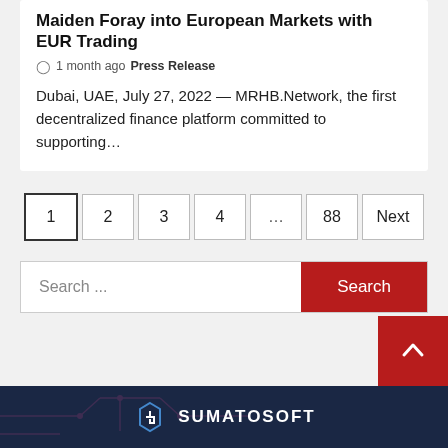Maiden Foray into European Markets with EUR Trading
1 month ago  Press Release
Dubai, UAE, July 27, 2022 — MRHB.Network, the first decentralized finance platform committed to supporting…
1  2  3  4  ...  88  Next
Search ...
SUMATOSOFT